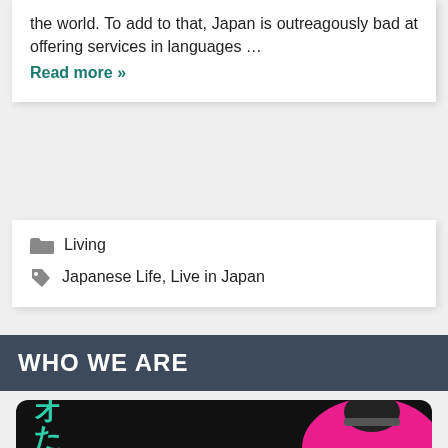the world. To add to that, Japan is outreagously bad at offering services in languages …
Read more »
Living
Japanese Life, Live in Japan
WHO WE ARE
[Figure (photo): A person wearing a cap against a pink and black background with green Japanese kanji characters on the left side]